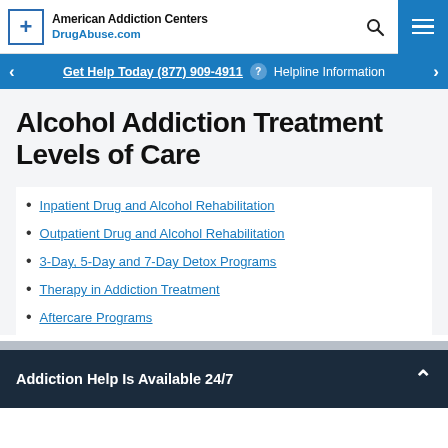American Addiction Centers DrugAbuse.com
Get Help Today (877) 909-4911 Helpline Information
Alcohol Addiction Treatment Levels of Care
Inpatient Drug and Alcohol Rehabilitation
Outpatient Drug and Alcohol Rehabilitation
3-Day, 5-Day and 7-Day Detox Programs
Therapy in Addiction Treatment
Aftercare Programs
Addiction Help Is Available 24/7